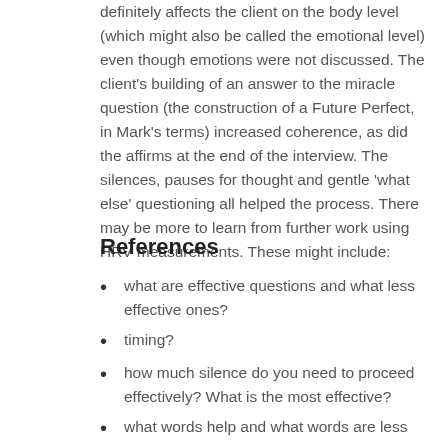definitely affects the client on the body level (which might also be called the emotional level) even though emotions were not discussed. The client's building of an answer to the miracle question (the construction of a Future Perfect, in Mark's terms) increased coherence, as did the affirms at the end of the interview. The silences, pauses for thought and gentle 'what else' questioning all helped the process. There may be more to learn from further work using HRV measurements. These might include:
References
what are effective questions and what less effective ones?
timing?
how much silence do you need to proceed effectively? What is the most effective?
what words help and what words are less